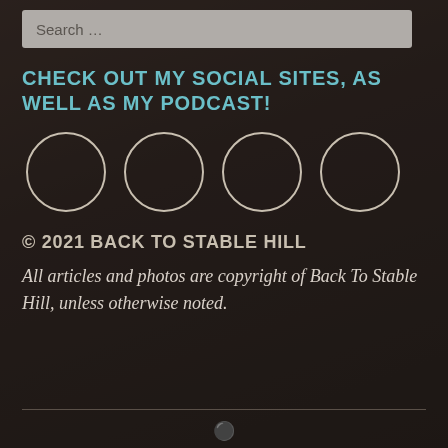Search …
CHECK OUT MY SOCIAL SITES, AS WELL AS MY PODCAST!
[Figure (illustration): Four circular social media icon placeholders arranged in a horizontal row, outlined circles with no fill]
© 2021 BACK TO STABLE HILL
All articles and photos are copyright of Back To Stable Hill, unless otherwise noted.